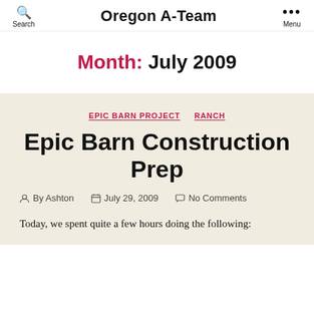Search  Oregon A-Team  Menu
Month: July 2009
EPIC BARN PROJECT   RANCH
Epic Barn Construction Prep
By Ashton   July 29, 2009   No Comments
Today, we spent quite a few hours doing the following: